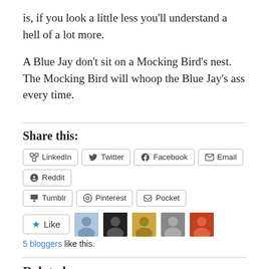is, if you look a little less you'll understand a hell of a lot more.
A Blue Jay don't sit on a Mocking Bird's nest. The Mocking Bird will whoop the Blue Jay's ass every time.
Share this:
LinkedIn   Twitter   Facebook   Email   Reddit   Tumblr   Pinterest   Pocket
Like   5 bloggers like this.
Related
Levon Helm